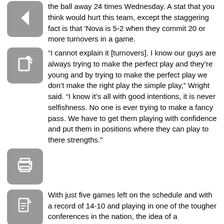the ball away 24 times Wednesday. A stat that you think would hurt this team, except the staggering fact is that 'Nova is 5-2 when they commit 20 or more turnovers in a game.
“I cannot explain it [turnovers]. I know our guys are always trying to make the perfect play and they’re young and by trying to make the perfect play we don’t make the right play the simple play,” Wright said. “I know it’s all with good intentions, it is never selfishness. No one is ever trying to make a fancy pass. We have to get them playing with confidence and put them in positions where they can play to there strengths.”
With just five games left on the schedule and with a record of 14-10 and playing in one of the tougher conferences in the nation, the idea of a tournament is not too far fetched if this team can put a winning streak together and tonight was a good way to start.
“We were on a two game losing streak, but the win helps us get our confidence back up and we have to go on a big run to end the season,” Ray said. “We got Pitt, UConn, Syracuse and Seton Hall coming up, who are all pretty much locks for the tournament, and if we could get big wins against them it might help out our chances.”
‘Nova will look to improve their tourney chances this weekend at